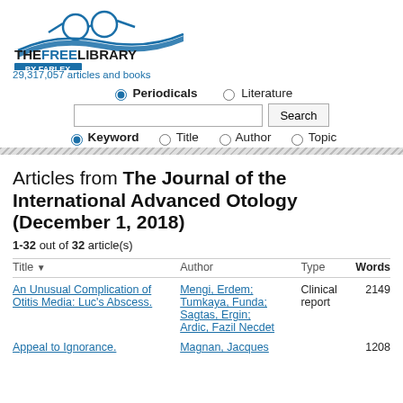[Figure (logo): The Free Library by Farlex logo with glasses icon]
29,317,057 articles and books
Periodicals  Literature (radio buttons)
Search input box with Search button
Keyword  Title  Author  Topic (radio buttons)
Articles from The Journal of the International Advanced Otology (December 1, 2018)
1-32 out of 32 article(s)
| Title | Author | Type | Words |
| --- | --- | --- | --- |
| An Unusual Complication of Otitis Media: Luc's Abscess. | Mengi, Erdem; Tumkaya, Funda; Sagtas, Ergin; Ardic, Fazil Necdet | Clinical report | 2149 |
| Appeal to Ignorance. | Magnan, Jacques |  | 1208 |